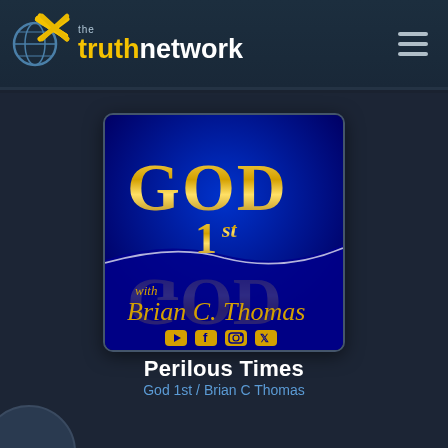the truth network
[Figure (logo): God 1st with Brian C Thomas podcast cover art: blue background with gold GOD 1st text, cursive Brian C Thomas signature, and social media icons (YouTube, Facebook, Instagram, Twitter)]
Perilous Times
God 1st / Brian C Thomas